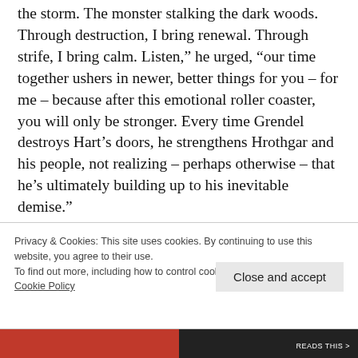the storm. The monster stalking the dark woods. Through destruction, I bring renewal. Through strife, I bring calm. Listen,” he urged, “our time together ushers in newer, better things for you – for me – because after this emotional roller coaster, you will only be stronger. Every time Grendel destroys Hart’s doors, he strengthens Hrothgar and his people, not realizing – perhaps otherwise – that he’s ultimately building up to his inevitable demise.”
Privacy & Cookies: This site uses cookies. By continuing to use this website, you agree to their use.
To find out more, including how to control cookies, see here:
Cookie Policy
Close and accept